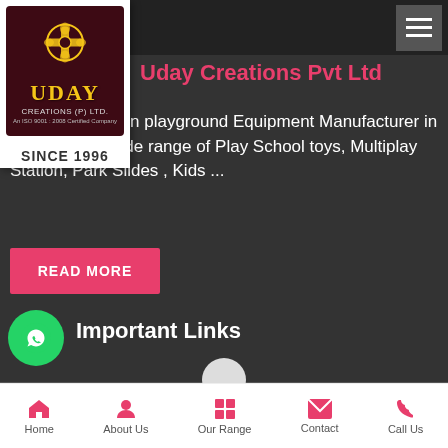[Figure (logo): Uday Creations Pvt Ltd logo with golden UDAY text on dark maroon background, established since 1996]
Uday Creations Pvt Ltd
School & Garden playground Equipment Manufacturer in India. Find a wide range of Play School toys, Multiplay Station, Park Slides , Kids ...
READ MORE
[Figure (logo): WhatsApp green circular button]
Important Links
Get Quotes
Company Profile
Home | About Us | Our Range | Contact | Call Us